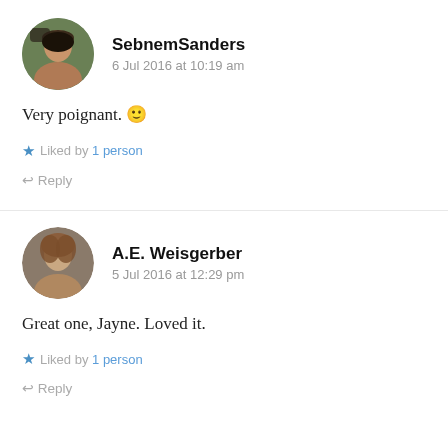[Figure (photo): Circular avatar photo of SebnemSanders user]
SebnemSanders
6 Jul 2016 at 10:19 am
Very poignant. 🙂
★ Liked by 1 person
↩ Reply
[Figure (photo): Circular avatar photo of A.E. Weisgerber user]
A.E. Weisgerber
5 Jul 2016 at 12:29 pm
Great one, Jayne. Loved it.
★ Liked by 1 person
↩ Reply